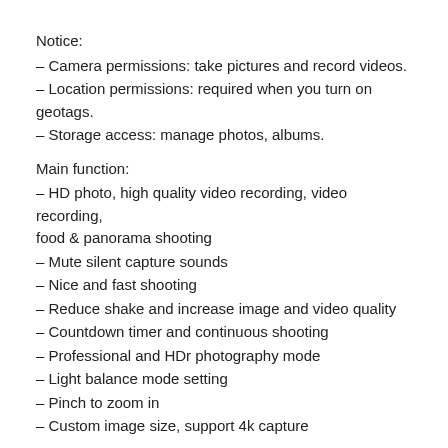Notice:
– Camera permissions: take pictures and record videos.
– Location permissions: required when you turn on geotags.
– Storage access: manage photos, albums.
Main function:
– HD photo, high quality video recording, video recording, food & panorama shooting
– Mute silent capture sounds
– Nice and fast shooting
– Reduce shake and increase image and video quality
– Countdown timer and continuous shooting
– Professional and HDr photography mode
– Light balance mode setting
– Pinch to zoom in
– Custom image size, support 4k capture
Download Camera for phone 12 – OS14 Camera HD app with shutter speed, continuous shutter, zoom and anti-blur